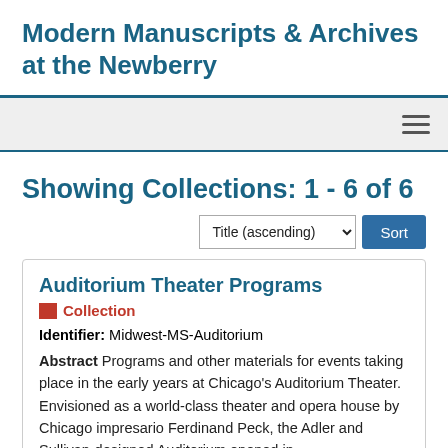Modern Manuscripts & Archives at the Newberry
Showing Collections: 1 - 6 of 6
Title (ascending) Sort
Auditorium Theater Programs
Collection
Identifier: Midwest-MS-Auditorium
Abstract Programs and other materials for events taking place in the early years at Chicago's Auditorium Theater. Envisioned as a world-class theater and opera house by Chicago impresario Ferdinand Peck, the Adler and Sullivan-designed Auditorium opened in